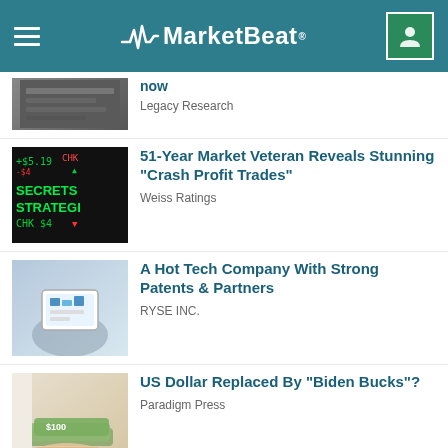MarketBeat
Legacy Research
51-Year Market Veteran Reveals Stunning "Crash Profit Trades"
Weiss Ratings
A Hot Tech Company With Strong Patents & Partners
RYSE INC.
US Dollar Replaced By "Biden Bucks"?
Paradigm Press